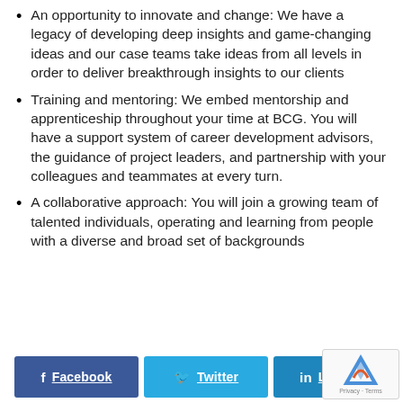An opportunity to innovate and change: We have a legacy of developing deep insights and game-changing ideas and our case teams take ideas from all levels in order to deliver breakthrough insights to our clients
Training and mentoring: We embed mentorship and apprenticeship throughout your time at BCG. You will have a support system of career development advisors, the guidance of project leaders, and partnership with your colleagues and teammates at every turn.
A collaborative approach: You will join a growing team of talented individuals, operating and learning from people with a diverse and broad set of backgrounds
Facebook  Twitter  LinkedIn